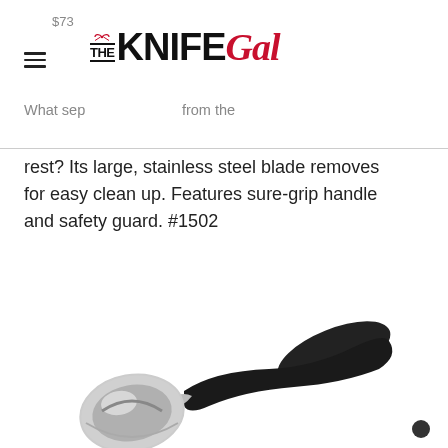THE KNIFE Gal
$73
What sep… from the rest? Its large, stainless steel blade removes for easy clean up. Features sure-grip handle and safety guard. #1502
[Figure (photo): An ice cream scoop with a black ergonomic handle and stainless steel bowl/blade, photographed on a white background.]